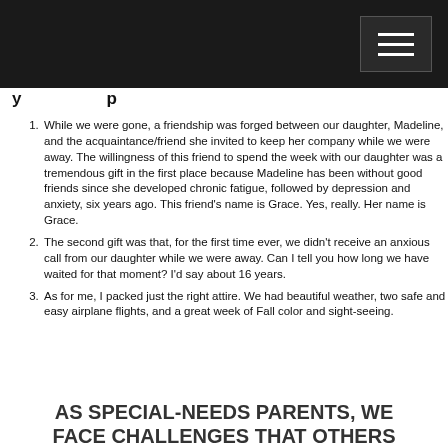While we were gone, a friendship was forged between our daughter, Madeline, and the acquaintance/friend she invited to keep her company while we were away. The willingness of this friend to spend the week with our daughter was a tremendous gift in the first place because Madeline has been without good friends since she developed chronic fatigue, followed by depression and anxiety, six years ago. This friend's name is Grace. Yes, really. Her name is Grace.
The second gift was that, for the first time ever, we didn't receive an anxious call from our daughter while we were away. Can I tell you how long we have waited for that moment? I'd say about 16 years.
As for me, I packed just the right attire. We had beautiful weather, two safe and easy airplane flights, and a great week of Fall color and sight-seeing.
AS SPECIAL-NEEDS PARENTS, WE FACE CHALLENGES THAT OTHERS